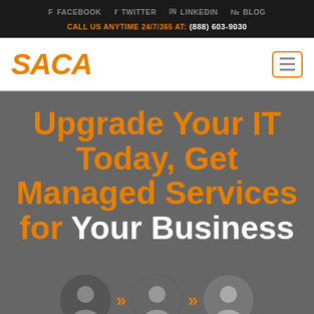FACEBOOK  TWITTER  LINKEDIN  BLOG
CALL US ANYTIME 24/7/365 AT: (888) 603-9030
[Figure (logo): SACA company logo in orange italic bold text]
[Figure (other): Hamburger menu button with three horizontal lines, orange border]
Upgrade Your IT Today, Get Managed Services for Your Business
[Figure (photo): Three circular cropped photos of business people with orange chevron arrows between them]